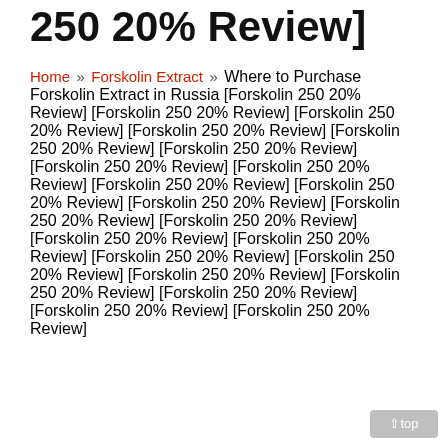250 20% Review]
Home » Forskolin Extract » Where to Purchase Forskolin Extract in Russia [Forskolin 250 20% Review] [Forskolin 250 20% Review] [Forskolin 250 20% Review] [Forskolin 250 20% Review] [Forskolin 250 20% Review] [Forskolin 250 20% Review] [Forskolin 250 20% Review] [Forskolin 250 20% Review] [Forskolin 250 20% Review] [Forskolin 250 20% Review] [Forskolin 250 20% Review] [Forskolin 250 20% Review] [Forskolin 250 20% Review] [Forskolin 250 20% Review] [Forskolin 250 20% Review] [Forskolin 250 20% Review] [Forskolin 250 20% Review] [Forskolin 250 20% Review] [Forskolin 250 20% Review] [Forskolin 250 20% Review] [Forskolin 250 20% Review] [Forskolin 250 20% Review]